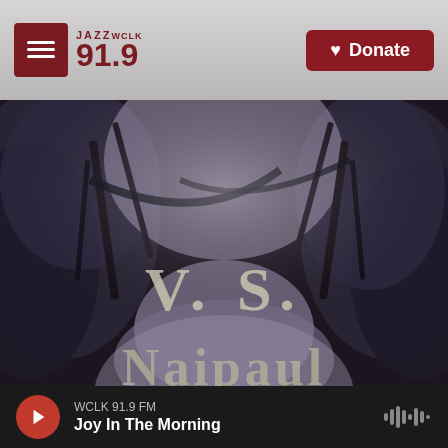[Figure (logo): JAZZ WCLK 91.9 FM radio station logo with dark red square icon and text]
[Figure (other): Red Donate button with heart icon in top right of header]
[Figure (photo): Black and white photo of a misty tree-lined path with text 'V. S. Naipaul' overlaid in pale letters]
WCLK 91.9 FM
Joy In The Morning